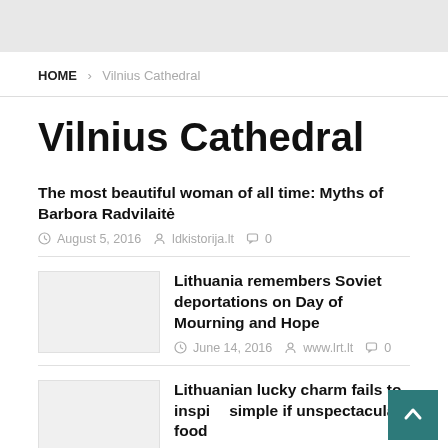HOME > Vilnius Cathedral
Vilnius Cathedral
The most beautiful woman of all time: Myths of Barbora Radvilaitė
August 5, 2016  ldkistorija.lt  0
Lithuania remembers Soviet deportations on Day of Mourning and Hope
June 14, 2016  www.lrt.lt  0
Lithuanian lucky charm fails to inspire simple if unspectacular food
May 20, 2016  the Lithuania Tribune  0